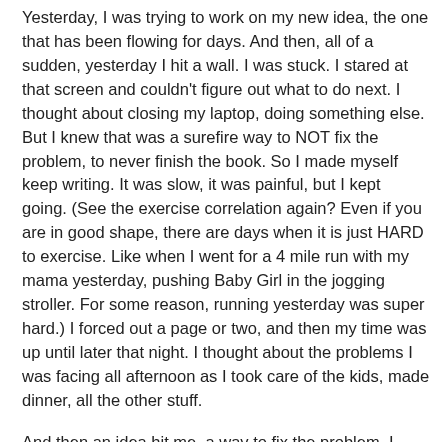Yesterday, I was trying to work on my new idea, the one that has been flowing for days. And then, all of a sudden, yesterday I hit a wall. I was stuck. I stared at that screen and couldn't figure out what to do next. I thought about closing my laptop, doing something else. But I knew that was a surefire way to NOT fix the problem, to never finish the book. So I made myself keep writing. It was slow, it was painful, but I kept going. (See the exercise correlation again? Even if you are in good shape, there are days when it is just HARD to exercise. Like when I went for a 4 mile run with my mama yesterday, pushing Baby Girl in the jogging stroller. For some reason, running yesterday was super hard.) I forced out a page or two, and then my time was up until later that night. I thought about the problems I was facing all afternoon as I took care of the kids, made dinner, all the other stuff.
And then an idea hit me, a way to fix the problem. I went back a few chapters, added some scenes, and then changed the stuff that happened after to match. And suddenly it was flowing again, even faster than before. I had what I like to call a "writer's high." Those times when you are just bursting with happiness and excitement as you type as fast as your